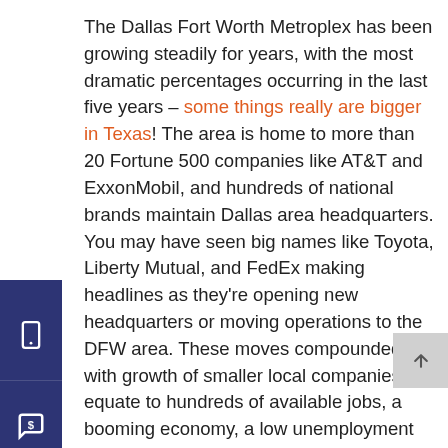The Dallas Fort Worth Metroplex has been growing steadily for years, with the most dramatic percentages occurring in the last five years – some things really are bigger in Texas! The area is home to more than 20 Fortune 500 companies like AT&T and ExxonMobil, and hundreds of national brands maintain Dallas area headquarters. You may have seen big names like Toyota, Liberty Mutual, and FedEx making headlines as they're opening new headquarters or moving operations to the DFW area. These moves compounded with growth of smaller local companies equate to hundreds of available jobs, a booming economy, a low unemployment rate, and a thriving market for everything from real estate to retail.
The Toyota HQ move alone (from California to West Plano) is expected to be responsible for an influx of roughly 4,000 individuals in early 2017. While mostly speculation, reasons cited for the move